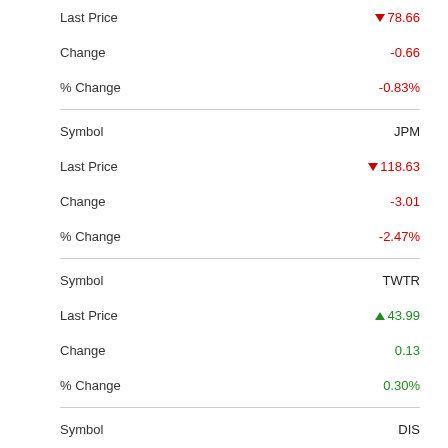| Field | Value |
| --- | --- |
| Last Price | ▼78.66 |
| Change | -0.66 |
| % Change | -0.83% |
| Symbol | JPM |
| Last Price | ▼118.63 |
| Change | -3.01 |
| % Change | -2.47% |
| Symbol | TWTR |
| Last Price | ▲43.99 |
| Change | 0.13 |
| % Change | 0.30% |
| Symbol | DIS |
| Last Price | ▼120.14 |